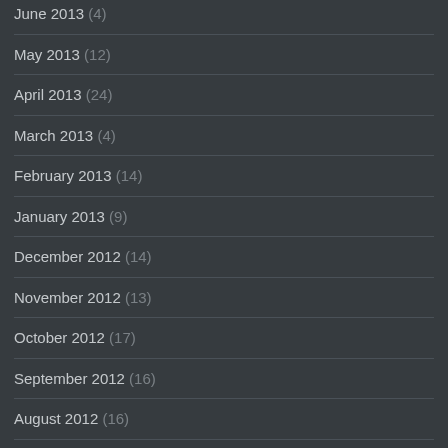June 2013 (4)
May 2013 (12)
April 2013 (24)
March 2013 (4)
February 2013 (14)
January 2013 (9)
December 2012 (14)
November 2012 (13)
October 2012 (17)
September 2012 (16)
August 2012 (16)
July 2012 (19)